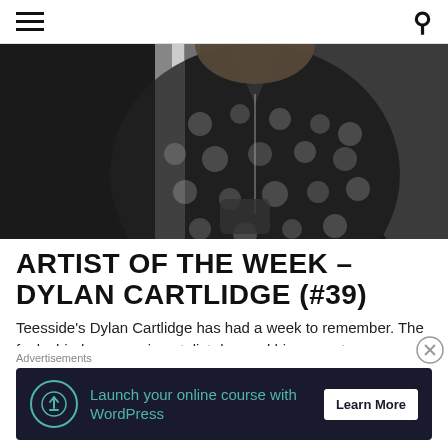Navigation menu and search icon
[Figure (photo): Black and white photo of a person wearing a dark polka-dot patterned shirt, cropped at the shoulders/chest, holding something, with a bright window or light behind them.]
ARTIST OF THE WEEK – DYLAN CARTLIDGE (#39)
Teesside's Dylan Cartlidge has had a week to remember. The funky hip-hop experimentalist dropped his newest
Advertisements
[Figure (infographic): Advertisement banner: dark navy background with teal icon circle showing a tree/upload icon, teal text reading 'Launch your online course with WordPress', and a white 'Learn More' button on the right.]